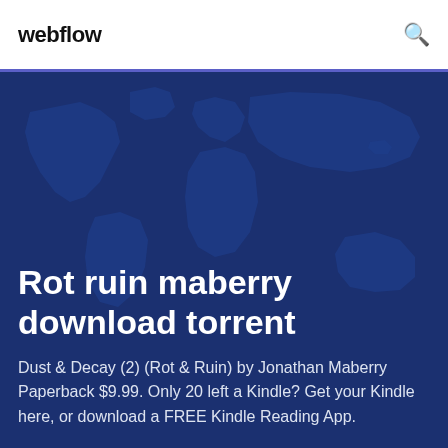webflow
[Figure (illustration): Dark navy blue world map silhouette used as a decorative background for the hero section]
Rot ruin maberry download torrent
Dust & Decay (2) (Rot & Ruin) by Jonathan Maberry Paperback $9.99. Only 20 left a Kindle? Get your Kindle here, or download a FREE Kindle Reading App.